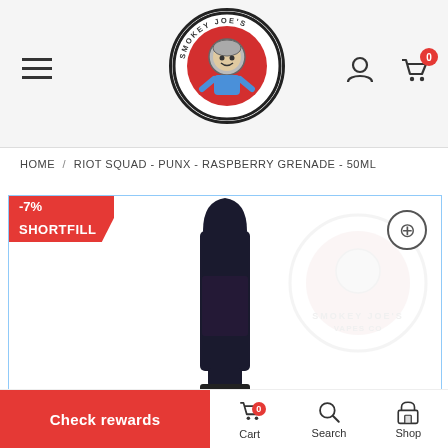[Figure (logo): Smokey Joe's Vapes Co circular logo with cartoon character]
HOME / RIOT SQUAD - PUNX - RASPBERRY GRENADE - 50ML
[Figure (photo): Product image of Riot Squad PUNX Raspberry Grenade 50ml bottle (black bullet-shaped shortfill bottle) with -7% discount badge, SHORTFILL ribbon, Smokey Joe's watermark, and zoom button]
Check rewards
Cart
Search
Shop